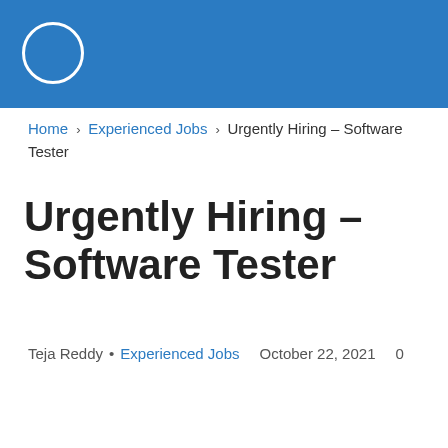[Figure (logo): Blue header bar with a white circle outline logo on the left]
Home › Experienced Jobs › Urgently Hiring – Software Tester
Urgently Hiring – Software Tester
Teja Reddy • Experienced Jobs   October 22, 2021   0